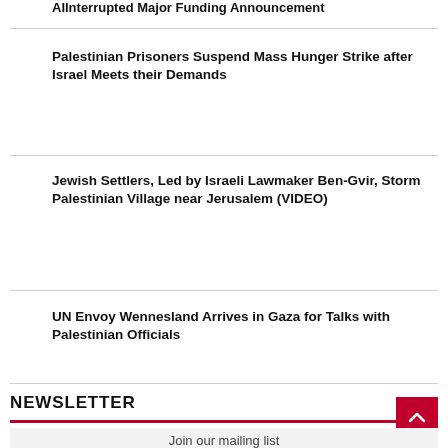AIInterrupted Major Funding Announcement
Palestinian Prisoners Suspend Mass Hunger Strike after Israel Meets their Demands
Jewish Settlers, Led by Israeli Lawmaker Ben-Gvir, Storm Palestinian Village near Jerusalem (VIDEO)
UN Envoy Wennesland Arrives in Gaza for Talks with Palestinian Officials
NEWSLETTER
Join our mailing list